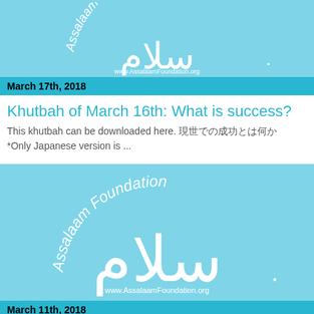[Figure (logo): Assalaam Foundation logo with Arabic calligraphy and text 'www.AssalaamFoundation.org' on light blue background (top, cropped)]
March 17th, 2018
Khutbah of March 16th: What is success?
This khutbah can be downloaded here. 現世での成功とは何か *Only Japanese version is ...
[Figure (logo): Assalaam Foundation logo with Arabic calligraphy and text 'www.AssalaamFoundation.org' on light blue background]
March 11th, 2018
Khutbah of March 9th: Is there an arrogant muslim?